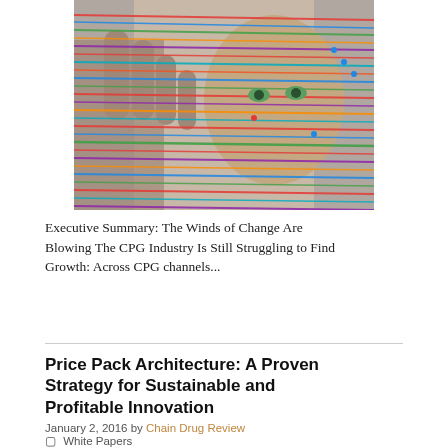[Figure (photo): Person with colorful lines overlaid across their face and a raised hand, creating an abstract digital or data visualization effect]
Executive Summary: The Winds of Change Are Blowing The CPG Industry Is Still Struggling to Find Growth: Across CPG channels...
Price Pack Architecture: A Proven Strategy for Sustainable and Profitable Innovation
January 2, 2016 by Chain Drug Review
White Papers